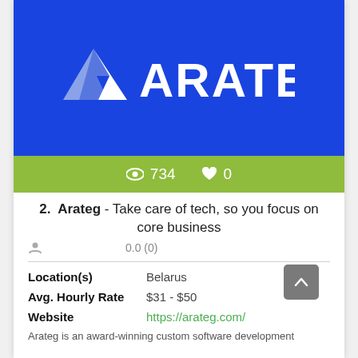[Figure (logo): Arateg logo — white mountain/A symbol and ARATEG wordmark on blue background]
👁 734   ♥ 0
2. Arateg - Take care of tech, so you focus on core business
0.0 (0)
Location(s) Belarus
Avg. Hourly Rate $31 - $50
Website https://arateg.com/
Arateg is an award-winning custom software development